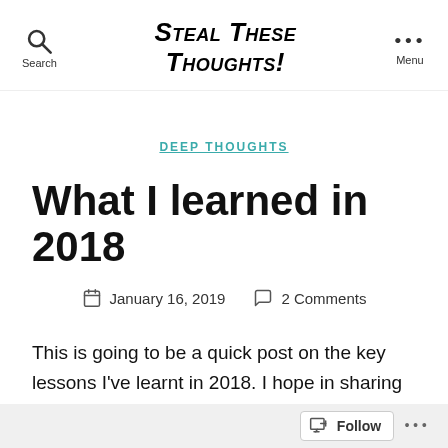Search  Steal These Thoughts!  Menu
DEEP THOUGHTS
What I learned in 2018
January 16, 2019  2 Comments
This is going to be a quick post on the key lessons I've learnt in 2018. I hope in sharing these that
Follow ...